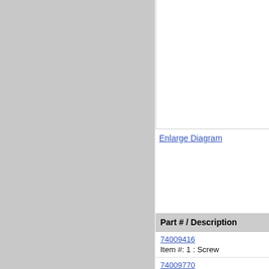[Figure (schematic): Part diagram image area (cropped/partial view), white box with gray border at top right of page]
Enlarge Diagram
| Part # / Description |
| --- |
| 74009416
Item #: 1 : Screw |
| 74009770
Item #: 1 : Valve (mueller 7.2) |
| 74009462
Item #: 1 : Valve (mueller) |
| 74009765
Item #: 2 : Fitting, Broil Burner |
| 74004307
Item #: 2 : Plate, Broil Fitting |
| WP3387230
Item #: 2 : Screw, No.10 X .5 Tya
Replaces: 7101P274-60 |